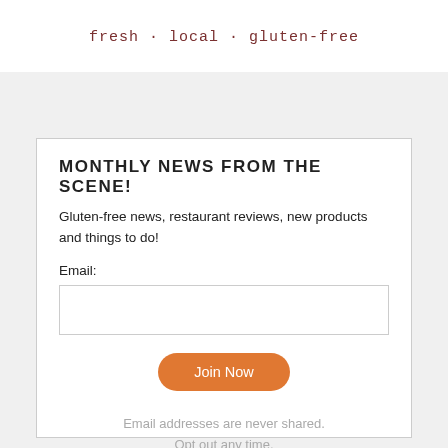fresh · local · gluten-free
MONTHLY NEWS FROM THE SCENE!
Gluten-free news, restaurant reviews, new products and things to do!
Email:
Join Now
Email addresses are never shared.
Opt out any time.